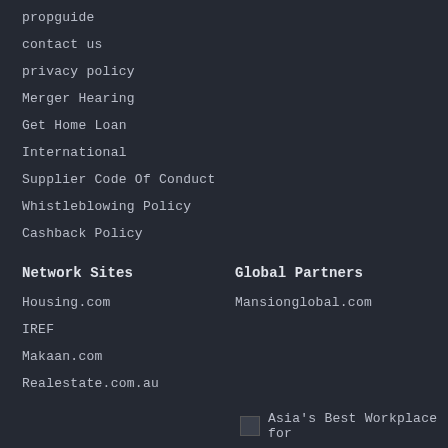propguide
contact us
privacy policy
Merger Hearing
Get Home Loan
International
Supplier Code Of Conduct
Whistleblowing Policy
Cashback Policy
Network Sites
Global Partners
Housing.com
Mansionglobal.com
IREF
Makaan.com
Realestate.com.au
Asia's Best Workplace for